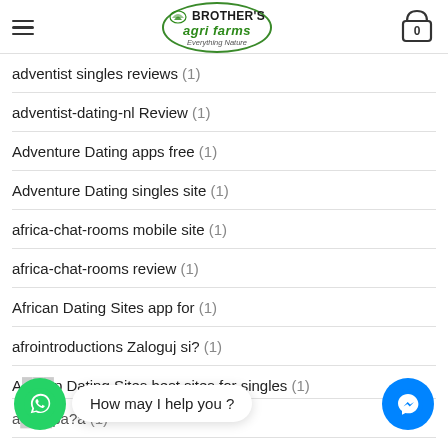Brother's Agri Farms — Everything Nature
adventist singles reviews (1)
adventist-dating-nl Review (1)
Adventure Dating apps free (1)
Adventure Dating singles site (1)
africa-chat-rooms mobile site (1)
africa-chat-rooms review (1)
African Dating Sites app for (1)
afrointroductions Zaloguj si? (1)
A...p Dating Sites best sites for singles (1)
a...pa?a (1)